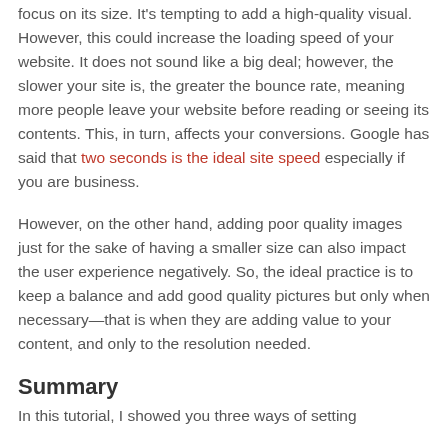focus on its size. It's tempting to add a high-quality visual. However, this could increase the loading speed of your website. It does not sound like a big deal; however, the slower your site is, the greater the bounce rate, meaning more people leave your website before reading or seeing its contents. This, in turn, affects your conversions. Google has said that two seconds is the ideal site speed especially if you are business.
However, on the other hand, adding poor quality images just for the sake of having a smaller size can also impact the user experience negatively. So, the ideal practice is to keep a balance and add good quality pictures but only when necessary—that is when they are adding value to your content, and only to the resolution needed.
Summary
In this tutorial, I showed you three ways of setting